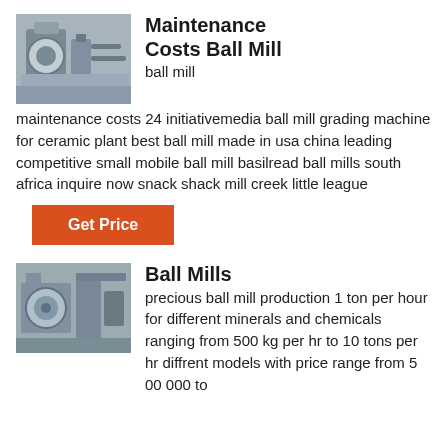[Figure (photo): Industrial ball mill equipment photo]
Maintenance Costs Ball Mill
ball mill maintenance costs 24 initiativemedia ball mill grading machine for ceramic plant best ball mill made in usa china leading competitive small mobile ball mill basilread ball mills south africa inquire now snack shack mill creek little league
Get Price
[Figure (photo): Ball mills industrial equipment photo]
Ball Mills
precious ball mill production 1 ton per hour for different minerals and chemicals ranging from 500 kg per hr to 10 tons per hr diffrent models with price range from 5 00 000 to